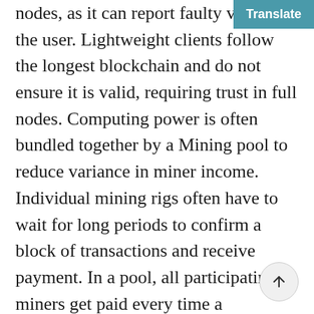nodes, as it can report faulty values to the user. Lightweight clients follow the longest blockchain and do not ensure it is valid, requiring trust in full nodes. Computing power is often bundled together by a Mining pool to reduce variance in miner income. Individual mining rigs often have to wait for long periods to confirm a block of transactions and receive payment. In a pool, all participating miners get paid every time a participating server solves a block. This payment depends on the amount of work an individual miner contributed to help find that block.